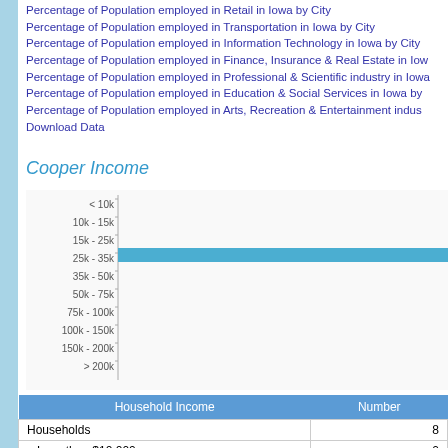Percentage of Population employed in Retail in Iowa by City
Percentage of Population employed in Transportation in Iowa by City
Percentage of Population employed in Information Technology in Iowa by City
Percentage of Population employed in Finance, Insurance & Real Estate in Iowa by City
Percentage of Population employed in Professional & Scientific industry in Iowa by City
Percentage of Population employed in Education & Social Services in Iowa by City
Percentage of Population employed in Arts, Recreation & Entertainment industry in Iowa by City
Download Data
Cooper Income
[Figure (bar-chart): Cooper Income]
| Household Income | Number |
| --- | --- |
| Households | 8 |
| Less than $10,000 | 0 |